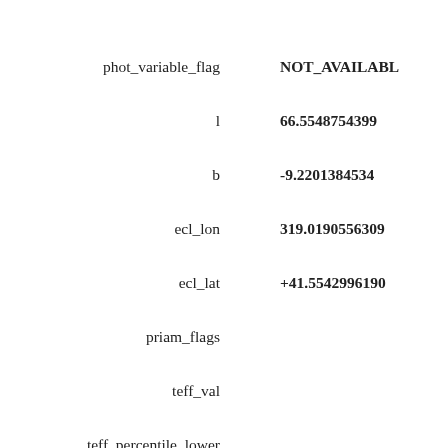| Field | Value |
| --- | --- |
| phot_variable_flag | NOT_AVAILABLE |
| l | 66.5548754399… |
| b | -9.2201384534… |
| ecl_lon | 319.0190556309… |
| ecl_lat | +41.5542996190… |
| priam_flags |  |
| teff_val |  |
| teff_percentile_lower |  |
| teff_percentile_upper |  |